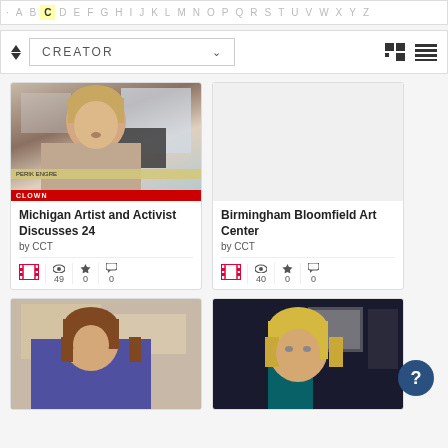A B C D E F G H I J K L M N O P Q R S T U V W X Y Z
CREATOR (dropdown) | grid view icon | list view icon
[Figure (screenshot): Thumbnail of a woman with blonde hair speaking, with an overlay bar and logo bar at bottom]
Michigan Artist and Activist Discusses 24
by CCT
49 views, 0 favorites, 0 comments
[Figure (screenshot): Blank white thumbnail card]
Birmingham Bloomfield Art Center
by CCT
40 views, 0 favorites, 0 comments
[Figure (photo): Thumbnail of a woman with brown hair in a purple sweater]
[Figure (photo): Thumbnail of a blonde woman in a dark blazer with teal accent, bookshelf in background]